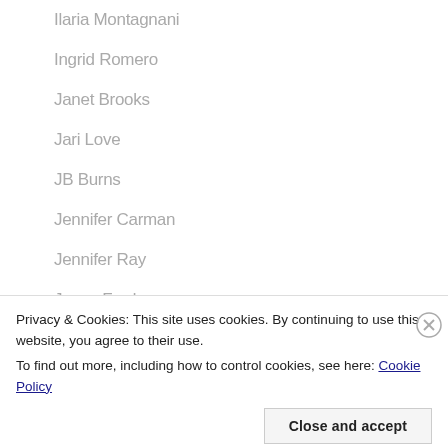Ilaria Montagnani
Ingrid Romero
Janet Brooks
Jari Love
JB Burns
Jennifer Carman
Jennifer Ray
Jenny Ford
Jeremy Sonkins
Jeremy Strom
Privacy & Cookies: This site uses cookies. By continuing to use this website, you agree to their use. To find out more, including how to control cookies, see here: Cookie Policy
Close and accept